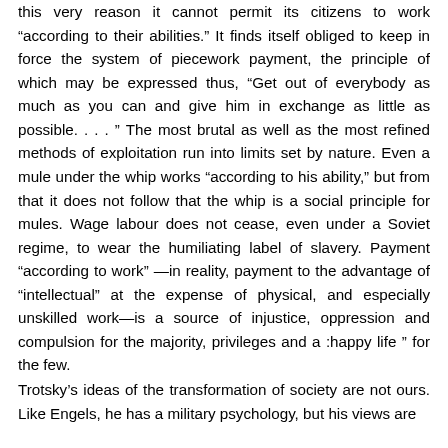this very reason it cannot permit its citizens to work “according to their abilities.” It finds itself obliged to keep in force the system of piecework payment, the principle of which may be expressed thus, “Get out of everybody as much as you can and give him in exchange as little as possible. . . . ” The most brutal as well as the most refined methods of exploitation run into limits set by nature. Even a mule under the whip works “according to his ability,” but from that it does not follow that the whip is a social principle for mules. Wage labour does not cease, even under a Soviet regime, to wear the humiliating label of slavery. Payment “according to work” —in reality, payment to the advantage of “intellectual” at the expense of physical, and especially unskilled work—is a source of injustice, oppression and compulsion for the majority, privileges and a :happy life ” for the few.
Trotsky’s ideas of the transformation of society are not ours. Like Engels, he has a military psychology, but his views are